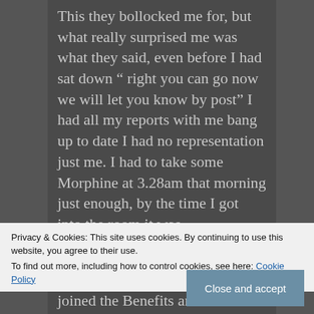This they bollocked me for, but what really surprised me was what they said, even before I had sat down “ right you can go now we will let you know by post” I had all my reports with me bang up to date I had no representation just me. I had to take some Morphine at 3.28am that morning just enough, by the time I got into the room it was
Privacy & Cookies: This site uses cookies. By continuing to use this website, you agree to their use.
To find out more, including how to control cookies, see here: Cookie Policy
Close and accept
joined the Benefits and Work